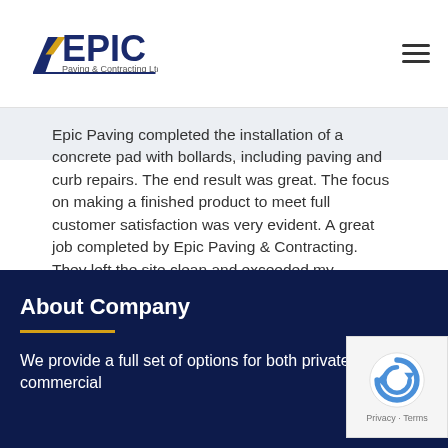EPIC Paving & Contracting Ltd
Epic Paving completed the installation of a concrete pad with bollards, including paving and curb repairs. The end result was great. The focus on making a finished product to meet full customer satisfaction was very evident. A great job completed by Epic Paving & Contracting. They left the site clean and exceeded my expectations. Thank you!
About Company
We provide a full set of options for both private and commercial